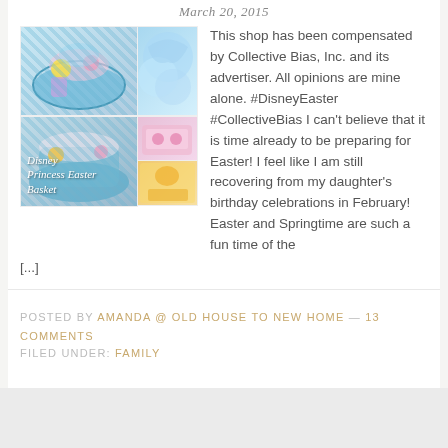March 20, 2015
[Figure (photo): Collage of Disney Princess Easter Basket photos showing colorful Easter basket with princess toys, blue tulle decorations, and princess accessories in a 5-panel grid layout]
This shop has been compensated by Collective Bias, Inc. and its advertiser. All opinions are mine alone. #DisneyEaster #CollectiveBias I can't believe that it is time already to be preparing for Easter! I feel like I am still recovering from my daughter's birthday celebrations in February! Easter and Springtime are such a fun time of the [...]
POSTED BY AMANDA @ OLD HOUSE TO NEW HOME — 13 COMMENTS
FILED UNDER: FAMILY